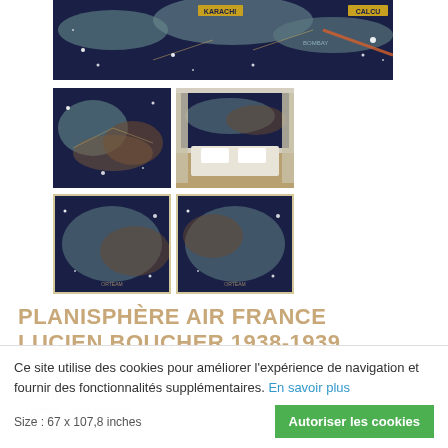[Figure (photo): Main large image of the Planisphère Air France wallpaper - dark navy background with constellation mythological figures in teal/grey, showing city labels KARACHI and CALCUL, with golden stars]
[Figure (photo): Thumbnail 1: close-up of the constellation wallpaper with mythological figures in orange/teal on dark navy]
[Figure (photo): Thumbnail 2: room mockup showing the wallpaper installed above a bed with white bedding]
[Figure (photo): Thumbnail 3: framed version of the wallpaper poster in landscape]
[Figure (photo): Thumbnail 4: another framed version of the wallpaper poster]
PLANISPHÈRE AIR FRANCE LUCIEN BOUCHER 1938-1939
Ce site utilise des cookies pour améliorer l'expérience de navigation et fournir des fonctionnalités supplémentaires. En savoir plus
Size : 67 x 107,8 inches
Autoriser les cookies